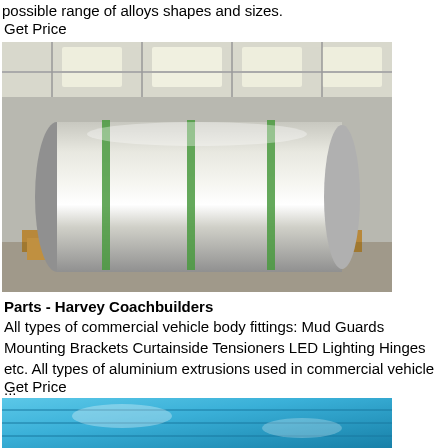possible range of alloys shapes and sizes.
Get Price
[Figure (photo): Large aluminium roll/cylinder on a wooden pallet in a warehouse, secured with green straps.]
Parts - Harvey Coachbuilders
All types of commercial vehicle body fittings: Mud Guards Mounting Brackets Curtainside Tensioners LED Lighting Hinges etc. All types of aluminium extrusions used in commercial vehicle ...
Get Price
[Figure (photo): Blue-coated aluminium sheets stacked on a pallet viewed from above.]